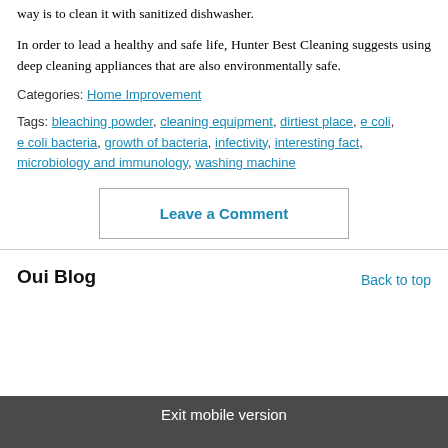way is to clean it with sanitized dishwasher.
In order to lead a healthy and safe life, Hunter Best Cleaning suggests using deep cleaning appliances that are also environmentally safe.
Categories: Home Improvement
Tags: bleaching powder, cleaning equipment, dirtiest place, e coli, e coli bacteria, growth of bacteria, infectivity, interesting fact, microbiology and immunology, washing machine
Leave a Comment
Oui Blog
Back to top
Exit mobile version